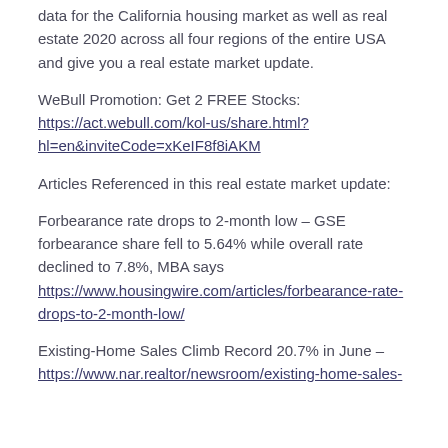data for the California housing market as well as real estate 2020 across all four regions of the entire USA and give you a real estate market update.
WeBull Promotion: Get 2 FREE Stocks: https://act.webull.com/kol-us/share.html?hl=en&inviteCode=xKeIF8f8iAKM
Articles Referenced in this real estate market update:
Forbearance rate drops to 2-month low – GSE forbearance share fell to 5.64% while overall rate declined to 7.8%, MBA says https://www.housingwire.com/articles/forbearance-rate-drops-to-2-month-low/
Existing-Home Sales Climb Record 20.7% in June – https://www.nar.realtor/newsroom/existing-home-sales-